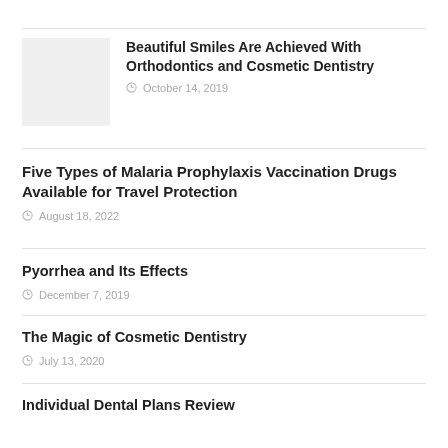[Figure (photo): Thumbnail image placeholder (light gray box)]
Beautiful Smiles Are Achieved With Orthodontics and Cosmetic Dentistry
October 14, 2019
Five Types of Malaria Prophylaxis Vaccination Drugs Available for Travel Protection
August 18, 2022
Pyorrhea and Its Effects
December 7, 2019
The Magic of Cosmetic Dentistry
July 13, 2020
Individual Dental Plans Review